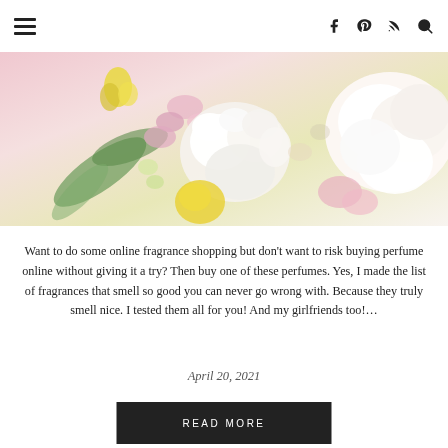≡  f  ⊕  ⊃  🔍
[Figure (photo): Overhead flat-lay photo of mixed flowers including white peonies, pink hydrangeas, yellow roses, and green stems on a light cream/pink background.]
Want to do some online fragrance shopping but don't want to risk buying perfume online without giving it a try? Then buy one of these perfumes. Yes, I made the list of fragrances that smell so good you can never go wrong with. Because they truly smell nice. I tested them all for you! And my girlfriends too!…
April 20, 2021
READ MORE